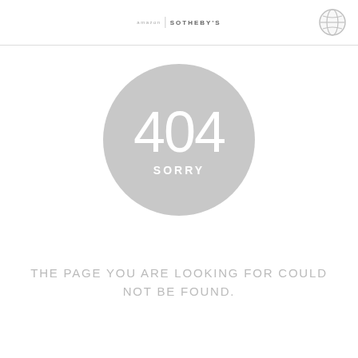amazon | Sotheby's  [globe icon]
[Figure (illustration): Large light gray circle containing the number 404 in large white text and the word SORRY in white uppercase text below it]
THE PAGE YOU ARE LOOKING FOR COULD NOT BE FOUND.